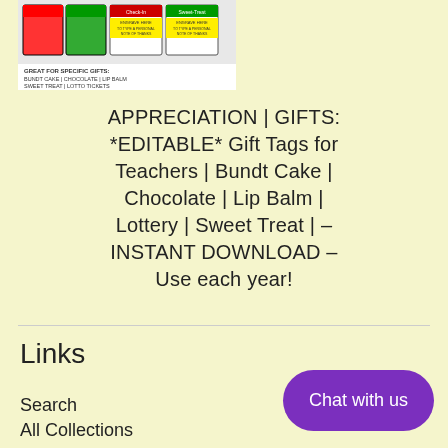[Figure (photo): Product image showing colorful gift tags for teachers with yellow editable sections and red/green decorative headers. Small text strip reads: GREAT FOR SPECIFIC GIFTS: BUNDT CAKE | CHOCOLATE | LIP BALM SWEET TREAT | LOTTO TICKETS]
APPRECIATION | GIFTS: *EDITABLE* Gift Tags for Teachers | Bundt Cake | Chocolate | Lip Balm | Lottery | Sweet Treat | - INSTANT DOWNLOAD - Use each year!
From $2.00
Links
Search
All Collections
[Figure (other): Purple rounded button labeled 'Chat with us']